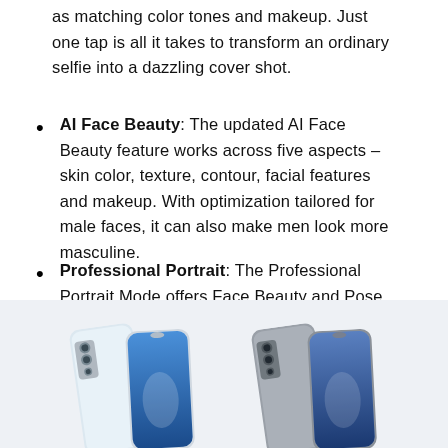as matching color tones and makeup. Just one tap is all it takes to transform an ordinary selfie into a dazzling cover shot.
AI Face Beauty: The updated AI Face Beauty feature works across five aspects – skin color, texture, contour, facial features and makeup. With optimization tailored for male faces, it can also make men look more masculine.
Professional Portrait: The Professional Portrait Mode offers Face Beauty and Pose Master, bokeh effects, and a range of artistic styles to help you look like a glamorous celebrity.
[Figure (photo): Two Huawei smartphones shown side by side against a light blue-grey background — one white/silver and one grey — each shown from both back and front angles.]